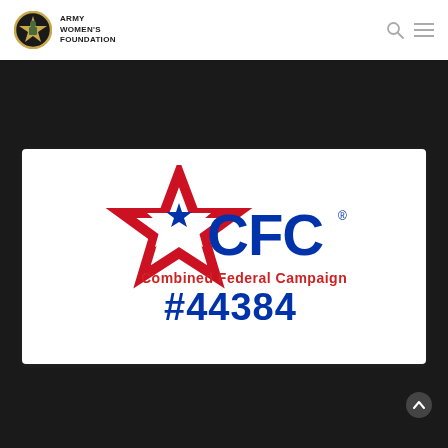Army Women's Foundation
[Figure (logo): CFC Combined Federal Campaign logo with red star outline containing a blue star, CFC text in blue, 'Combined Federal Campaign' in red, and '#44384' in blue below]